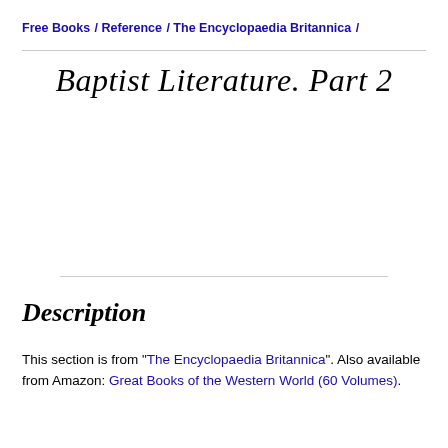Free Books / Reference / The Encyclopaedia Britannica /
Baptist Literature. Part 2
Description
This section is from "The Encyclopaedia Britannica". Also available from Amazon: Great Books of the Western World (60 Volumes).